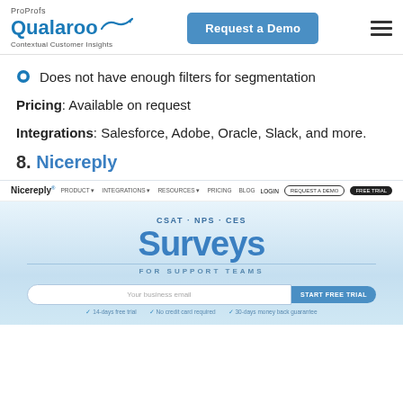ProProfs Qualaroo — Contextual Customer Insights | Request a Demo
Does not have enough filters for segmentation
Pricing: Available on request
Integrations: Salesforce, Adobe, Oracle, Slack, and more.
8. Nicereply
[Figure (screenshot): Nicereply website screenshot showing navigation bar and hero section with CSAT·NPS·CES Surveys for Support Teams, email signup form, and features list: 14-days free trial, No credit card required, 30-days money back guarantee]